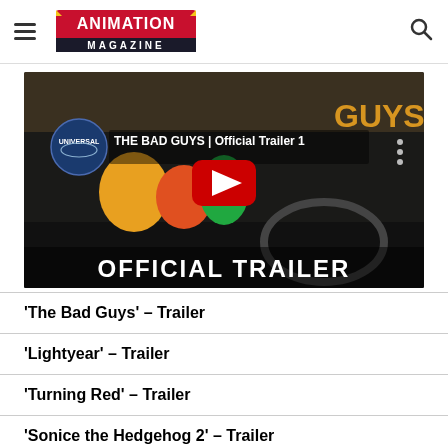Animation Magazine
[Figure (screenshot): YouTube video thumbnail for 'THE BAD GUYS | Official Trailer 1' with Universal logo, animated characters in a car, and YouTube play button overlay. Text reads 'OFFICIAL TRAILER' at the bottom.]
'The Bad Guys' – Trailer
'Lightyear' – Trailer
'Turning Red' – Trailer
'Sonice the Hedgehog 2' – Trailer